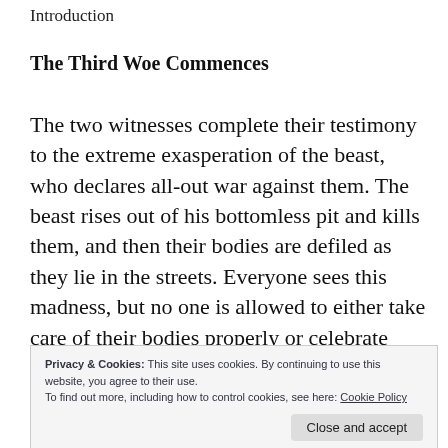Introduction
The Third Woe Commences
The two witnesses complete their testimony to the extreme exasperation of the beast, who declares all-out war against them. The beast rises out of his bottomless pit and kills them, and then their bodies are defiled as they lie in the streets. Everyone sees this madness, but no one is allowed to either take care of their bodies properly or celebrate their life. Then, after all
Privacy & Cookies: This site uses cookies. By continuing to use this website, you agree to their use.
To find out more, including how to control cookies, see here: Cookie Policy
Close and accept
terrible earthquake occurs and those remaining